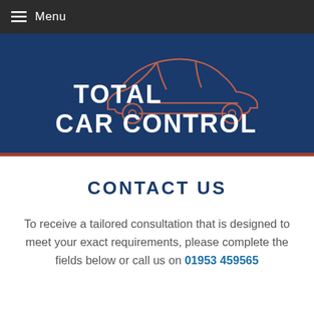Menu
[Figure (logo): Total Car Control logo — white text 'TOTAL CAR CONTROL' with a copper/rust colored line-art sports car silhouette on a dark navy blue background]
CONTACT US
To receive a tailored consultation that is designed to meet your exact requirements, please complete the fields below or call us on 01953 459565